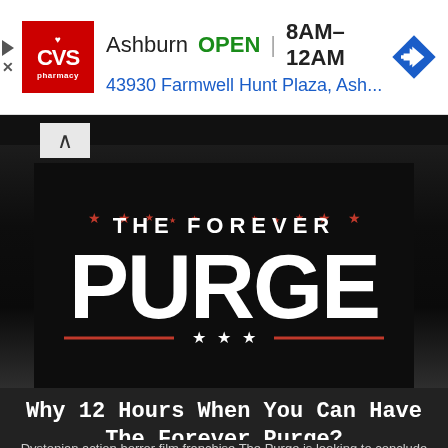[Figure (screenshot): CVS Pharmacy advertisement banner showing store location in Ashburn, OPEN 8AM-12AM, address 43930 Farmwell Hunt Plaza, Ash..., with CVS logo and navigation icon]
[Figure (logo): The Forever Purge movie title card on dark background with red stars and decorative elements, showing 'THE FOREVER' in smaller text above large 'PURGE' text with stars below]
Why 12 Hours When You Can Have The Forever Purge?
Dystopian action horror film franchise The Purge is looking to conclude its eight-year theatrical series run by finishing off its bloody pentalogy with the most violently satisfying entry yet, deemed The Forever Purge